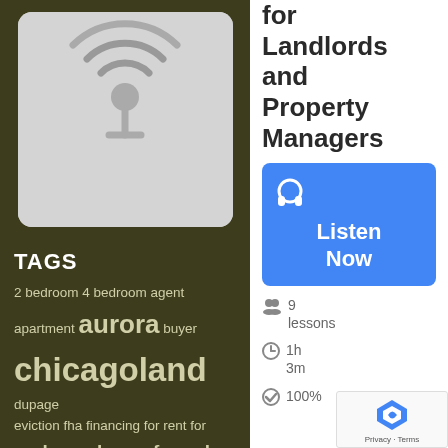[Figure (illustration): Podcast placeholder image with headphone/broadcast icon on grey rounded rectangle background]
TAGS
2 bedroom 4 bedroom agent apartment aurora buyer chicagoland dupage eviction fha financing for rent for sale home home for sale
for Landlords and Property Managers
[Figure (other): Blue Listen Now button with headphone icon]
9 lessons
1h 3m
100%